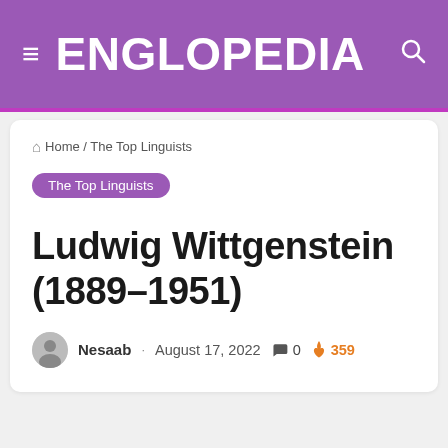ENGLOPEDIA
Home / The Top Linguists
The Top Linguists
Ludwig Wittgenstein (1889-1951)
Nesaab · August 17, 2022 · 0 · 359